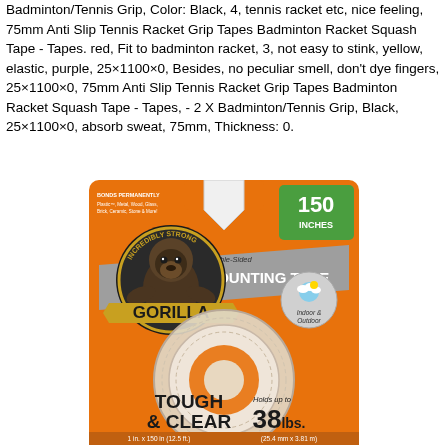Badminton/Tennis Grip, Color: Black, 4, tennis racket etc, nice feeling, 75mm Anti Slip Tennis Racket Grip Tapes Badminton Racket Squash Tape - Tapes. red, Fit to badminton racket, 3, not easy to stink, yellow, elastic, purple, 25×1100×0, Besides, no peculiar smell, don't dye fingers, 25×1100×0, 75mm Anti Slip Tennis Racket Grip Tapes Badminton Racket Squash Tape - Tapes, - 2 X Badminton/Tennis Grip, Black, 25×1100×0, absorb sweat, 75mm, Thickness: 0.
[Figure (photo): Gorilla Double-Sided Mounting Tape product packaging. Orange blister card with a gorilla logo. Text reads: BONDS PERMANENTLY, 150 INCHES, Double-Sided MOUNTING TAPE, GORILLA, INCREDIBLY STRONG, 100% TOUGH, TOUGH & CLEAR, Holds up to 38 lbs., 1 in. x 150 in (12.5 ft.) (25.4 mm x 3.81 m), Indoor & Outdoor. Clear tape roll visible in packaging.]